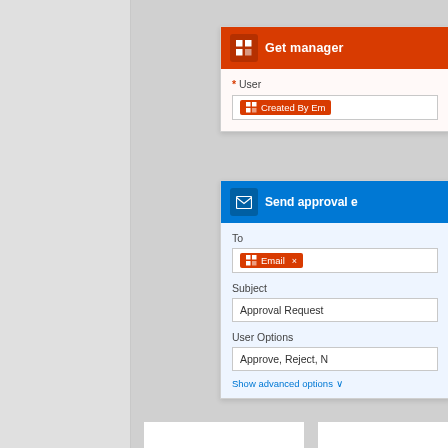[Figure (screenshot): Microsoft Power Automate / Logic Apps workflow editor screenshot showing partially visible workflow cards: 'Get manager' card with User field containing 'Created By Em...' token, 'Send approval e...' card with To field containing 'Email' token, Subject field 'Approval Request', User Options field 'Approve, Reject, N', and Show advanced options link. Below is a 'Switch' block with 'On' field containing 'SelectedOption' token. Bottom shows stubs of two more cards.]